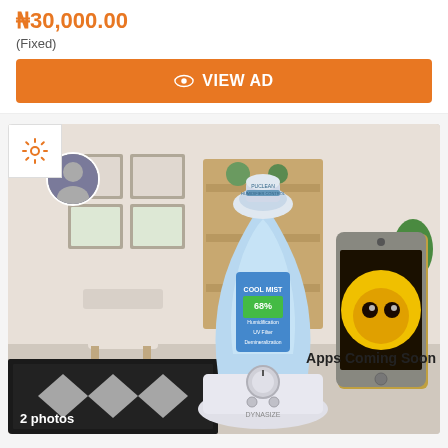₦30,000.00
(Fixed)
VIEW AD
[Figure (photo): Product listing photo showing a blue and white humidifier device in a room setting, with a smartphone displaying a yellow cat logo and text 'Apps Coming Soon']
2 photos